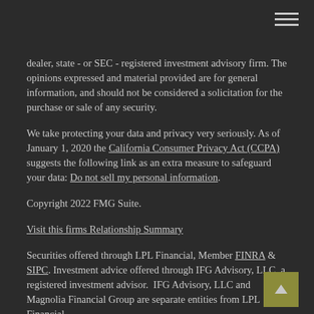dealer, state - or SEC - registered investment advisory firm. The opinions expressed and material provided are for general information, and should not be considered a solicitation for the purchase or sale of any security.
We take protecting your data and privacy very seriously. As of January 1, 2020 the California Consumer Privacy Act (CCPA) suggests the following link as an extra measure to safeguard your data: Do not sell my personal information.
Copyright 2022 FMG Suite.
Visit this firms Relationship Summary
Securities offered through LPL Financial, Member FINRA & SIPC. Investment advice offered through IFG Advisory, LLC, a registered investment advisor.  IFG Advisory, LLC and Magnolia Financial Group are separate entities from LPL Financial.